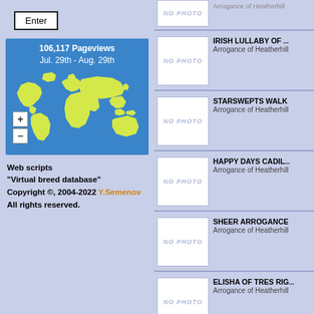Enter
[Figure (map): World map showing visitor locations on blue background with yellow-green continents. Stats: 106,117 Pageviews, Jul. 29th - Aug. 29th. Zoom + and - buttons bottom left.]
Web scripts
"Virtual breed database"
Copyright ©, 2004-2022 Y.Semenov
All rights reserved.
IRISH LULLABY OF ... / Arrogance of Heatherhill
STARSWEPTS WALK / Arrogance of Heatherhill
HAPPY DAYS CADIL... / Arrogance of Heatherhill
SHEER ARROGANCE / Arrogance of Heatherhill
ELISHA OF TRES RIC... / Arrogance of Heatherhill
ARROGANCES LITT... / Arrogance of Heatherhill